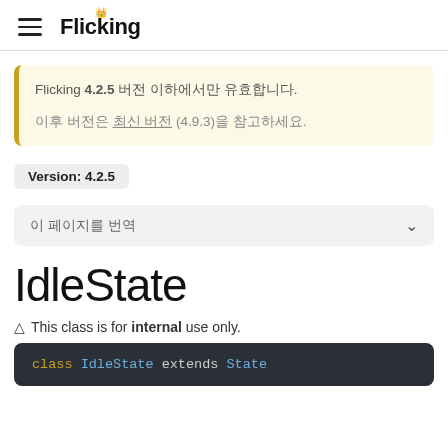Flicking
Flicking 4.2.5 버전 이하에서만 유효합니다.
이후 버전은 최신 버전 (4.9.3)을 참고하세요.
Version: 4.2.5
이 페이지를 번역
IdleState
⚠ This class is for internal use only.
class IdleState extends State